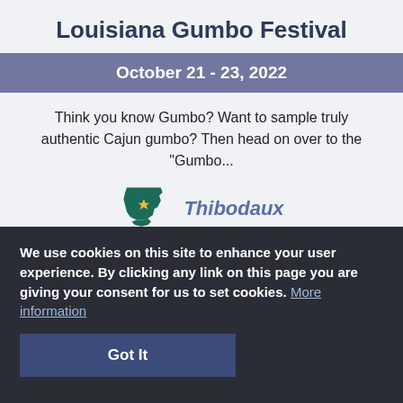Louisiana Gumbo Festival
October 21 - 23, 2022
Think you know Gumbo? Want to sample truly authentic Cajun gumbo? Then head on over to the "Gumbo...
[Figure (logo): Louisiana state outline logo icon in teal/green and yellow/gold colors next to the italic text 'Thibodaux']
We use cookies on this site to enhance your user experience. By clicking any link on this page you are giving your consent for us to set cookies. More information
Got It